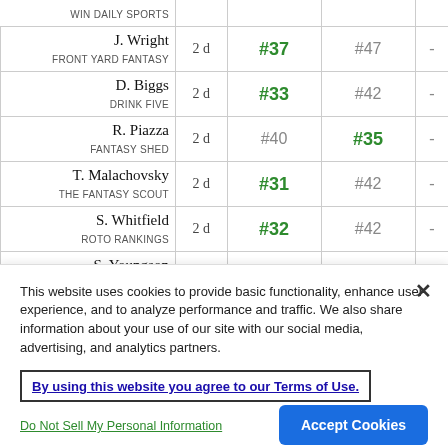| Expert | Age | Rank Col 1 | Rank Col 2 |  |
| --- | --- | --- | --- | --- |
| WIN DAILY SPORTS |  |  |  |  |
| J. Wright / FRONT YARD FANTASY | 2 d | #37 | #47 | - |
| D. Biggs / DRINK FIVE | 2 d | #33 | #42 | - |
| R. Piazza / FANTASY SHED | 2 d | #40 | #35 | - |
| T. Malachovsky / THE FANTASY SCOUT | 2 d | #31 | #42 | - |
| S. Whitfield / ROTO RANKINGS | 2 d | #32 | #42 | - |
| S. Youngson / PITCHER LIST | 2 d | #34 | #39 | - |
This website uses cookies to provide basic functionality, enhance user experience, and to analyze performance and traffic. We also share information about your use of our site with our social media, advertising, and analytics partners.
By using this website you agree to our Terms of Use.
Do Not Sell My Personal Information
Accept Cookies